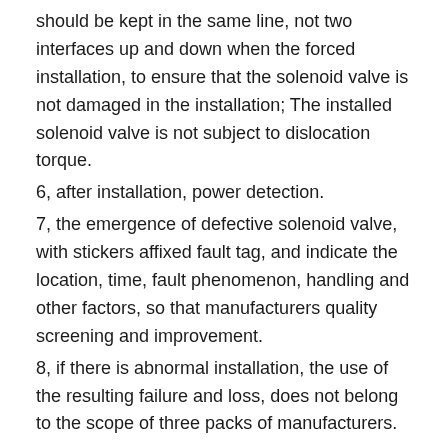should be kept in the same line, not two interfaces up and down when the forced installation, to ensure that the solenoid valve is not damaged in the installation; The installed solenoid valve is not subject to dislocation torque.
6, after installation, power detection.
7, the emergence of defective solenoid valve, with stickers affixed fault tag, and indicate the location, time, fault phenomenon, handling and other factors, so that manufacturers quality screening and improvement.
8, if there is abnormal installation, the use of the resulting failure and loss, does not belong to the scope of three packs of manufacturers.
Second, the basic failure and troubleshooting methods
1, the solenoid valve can not open
cause of issue